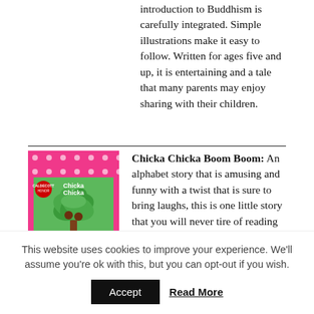introduction to Buddhism is carefully integrated. Simple illustrations make it easy to follow. Written for ages five and up, it is entertaining and a tale that many parents may enjoy sharing with their children.
[Figure (illustration): Book cover of 'Chicka Chicka Boom Boom' — pink polka-dot border, green background, green palm tree with brown trunk, colorful letters, title text in white and orange.]
Chicka Chicka Boom Boom: An alphabet story that is amusing and funny with a twist that is sure to bring laughs, this is one little story that you will never tire of reading with your little ones. As each little letter (lower case) invites another to
This website uses cookies to improve your experience. We'll assume you're ok with this, but you can opt-out if you wish.